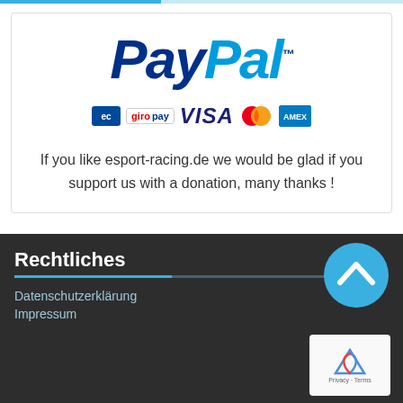[Figure (logo): PayPal logo with payment icons (EC, giropay, VISA, Mastercard, American Express)]
If you like esport-racing.de we would be glad if you support us with a donation, many thanks !
Rechtliches
Datenschutzerklärung
Impressum